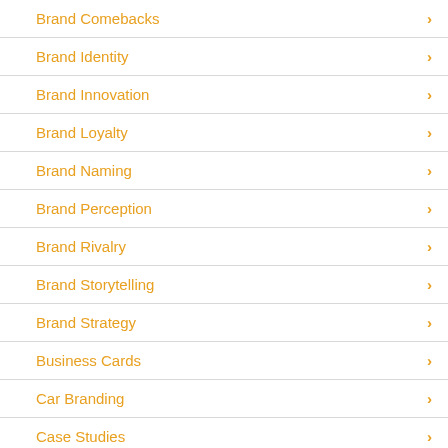Brand Comebacks
Brand Identity
Brand Innovation
Brand Loyalty
Brand Naming
Brand Perception
Brand Rivalry
Brand Storytelling
Brand Strategy
Business Cards
Car Branding
Case Studies